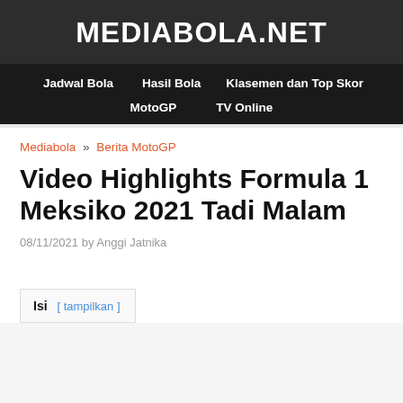MEDIABOLA.NET
Jadwal Bola  Hasil Bola  Klasemen dan Top Skor  MotoGP  TV Online
Mediabola » Berita MotoGP
Video Highlights Formula 1 Meksiko 2021 Tadi Malam
08/11/2021 by Anggi Jatnika
Isi [ tampilkan ]